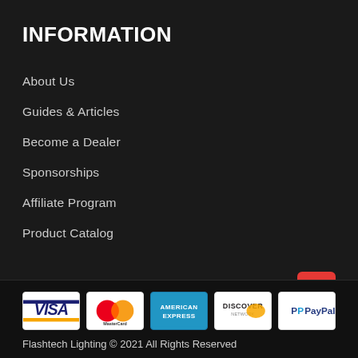INFORMATION
About Us
Guides & Articles
Become a Dealer
Sponsorships
Affiliate Program
Product Catalog
[Figure (logo): Payment method logos: Visa, MasterCard, American Express, Discover, PayPal]
Flashtech Lighting © 2021 All Rights Reserved